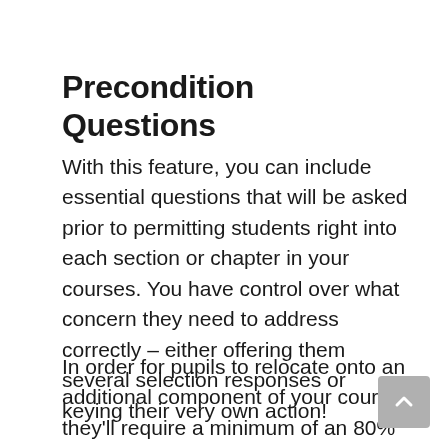Precondition Questions
With this feature, you can include essential questions that will be asked prior to permitting students right into each section or chapter in your courses. You have control over what concern they need to address correctly – either offering them several selection responses or keying their very own action!
In order for pupils to relocate onto an additional component of your course, they'll require a minimum of an 80% proper rating from the previous tests or